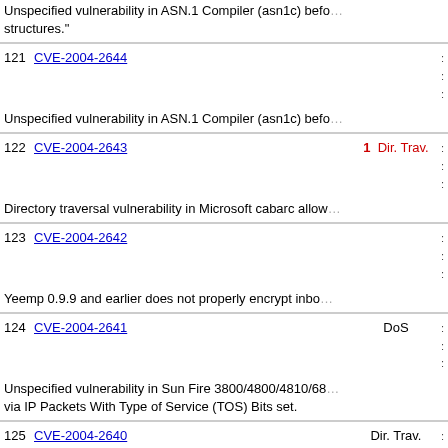Unspecified vulnerability in ASN.1 Compiler (asn1c) before ... structures."
121 CVE-2004-2644
Unspecified vulnerability in ASN.1 Compiler (asn1c) before ...
122 CVE-2004-2643  1  Dir. Trav.
Directory traversal vulnerability in Microsoft cabarc allow...
123 CVE-2004-2642
Yeemp 0.9.9 and earlier does not properly encrypt inbound...
124 CVE-2004-2641  DoS
Unspecified vulnerability in Sun Fire 3800/4800/4810/6800 ... via IP Packets With Type of Service (TOS) Bits set.
125 CVE-2004-2640  Dir. Trav.
Directory traversal vulnerability in lstat.cgi in LinuxStat be... template parameter.
126 CVE-2004-2639
Unspecified vulnerability in Journalness 3.0.7 and earlier...